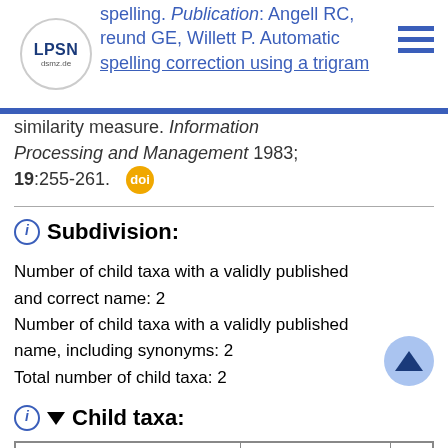LPSN dsmz.de — spelling correction using a trigram similarity measure. Information Processing and Management 1983; 19:255-261.
similarity measure. Information Processing and Management 1983; 19:255-261.
Subdivision:
Number of child taxa with a validly published and correct name: 2
Number of child taxa with a validly published name, including synonyms: 2
Total number of child taxa: 2
Child taxa:
| Name ▼ | Nomenclatural status | Ta... |
| --- | --- | --- |